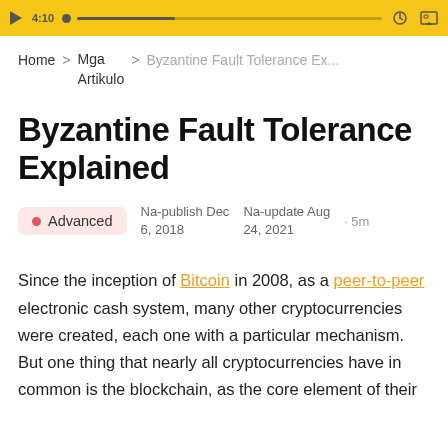[Figure (screenshot): Video player toolbar with play button, time 4:10, progress bar, settings gear icon, and fullscreen icon on a yellow background.]
Home > Mga Artikulo > Byzantine Fault Tolerance Ex...
Byzantine Fault Tolerance Explained
• Advanced   Na-publish Dec 6, 2018   Na-update Aug 24, 2021   · 5m
Since the inception of Bitcoin in 2008, as a peer-to-peer electronic cash system, many other cryptocurrencies were created, each one with a particular mechanism. But one thing that nearly all cryptocurrencies have in common is the blockchain, as the core element of their